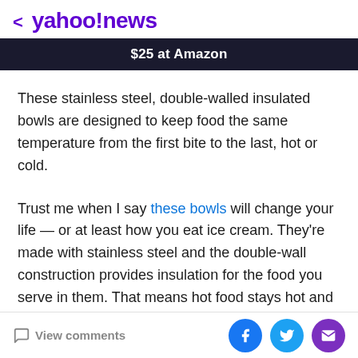< yahoo!news
$25 at Amazon
These stainless steel, double-walled insulated bowls are designed to keep food the same temperature from the first bite to the last, hot or cold.
Trust me when I say these bowls will change your life — or at least how you eat ice cream. They're made with stainless steel and the double-wall construction provides insulation for the food you serve in them. That means hot food stays hot and cold food stays cold, making them useful year-round. Bonus: they're BPA-free so you don't
View comments